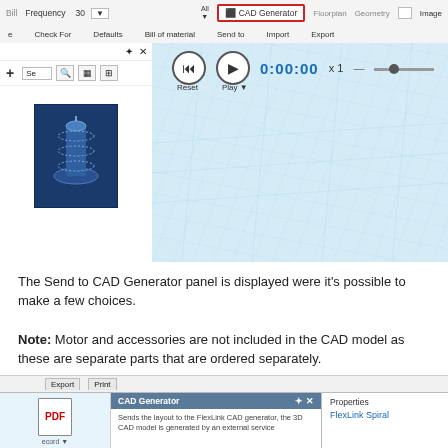[Figure (screenshot): Screenshot of CAD/design software showing a toolbar with 'CAD Generator' button highlighted in red, a left panel with a conveyor component thumbnail, and a 3D view with playback controls (Reset, Play), time display 0:00:00, and a light blue grid canvas.]
The Send to CAD Generator panel is displayed were it's possible to make a few choices.
Note: Motor and accessories are not included in the CAD model as these are separate parts that are ordered separately.
[Figure (screenshot): Bottom screenshot showing Export/Print tabs, a CAD Generator panel header in blue-grey, body text 'Sends the layout to the FlexLink CAD generator, the 3D CAD model is generated by an external service', a PDF icon on the left, and a Properties panel on the right showing 'FlexLink Spiral'.]